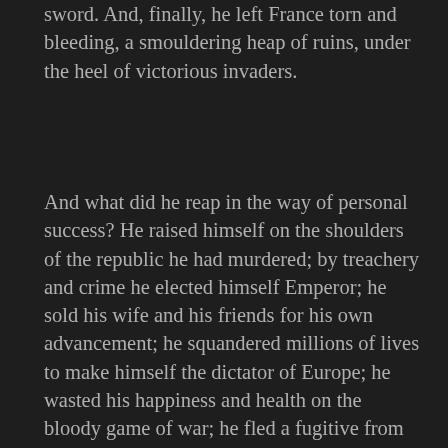sword. And, finally, he left France torn and bleeding, a smouldering heap of ruins, under the heel of victorious invaders.
And what did he reap in the way of personal success? He raised himself on the shoulders of the republic he had murdered; by treachery and crime he elected himself Emperor; he sold his wife and his friends for his own advancement; he squandered millions of lives to make himself the dictator of Europe; he wasted his happiness and health on the bloody game of war; he fled a fugitive from the field of Waterloo, leaving his broken tools behind him; and he died a prisoner on a desolated island, without a friend to close his eyes or so much as six feet of ground of his own to lay his body in.